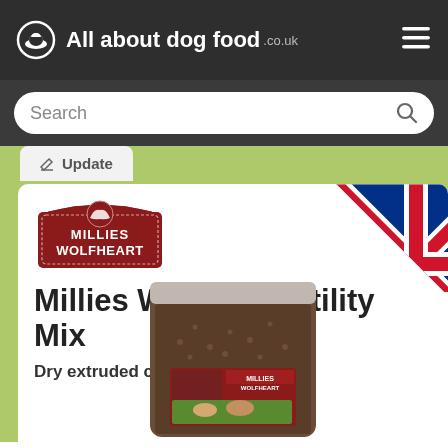All about dog food .co.uk
Search
Update
[Figure (logo): Millies Wolfheart brand logo - dark red/maroon badge with two dog silhouettes and text MILLIES WOLFHEART]
[Figure (photo): UK Union Jack flag shown as a folded corner banner in the top right of the card]
Millies Wolfheart Utility Mix
Dry extruded complete
[Figure (photo): Product image of a large brown bag of Millies Wolfheart dog food with a label showing dogs running in a field]